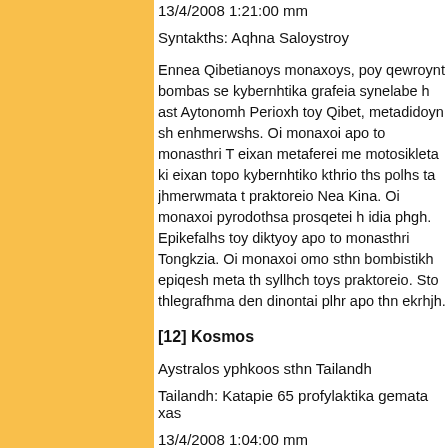13/4/2008 1:21:00 mm
Syntakths: Aqhna Saloystroy
Ennea Qibetianoys monaxoys, poy qewroynt bombas se kybernhtika grafeia synelabe h ast Aytonomh Perioxh toy Qibet, metadidoyn sh enhmerwshs. Oi monaxoi apo to monasthri T eixan metaferei me motosikleta ki eixan topo kybernhtiko kthrio ths polhs ta jhmerwmata t praktoreio Nea Kina. Oi monaxoi pyrodothsa prosqetei h idia phgh. Epikefalhs toy diktyoy apo to monasthri Tongkzia. Oi monaxoi omo sthn bombistikh epiqesh meta th syllhch toys praktoreio. Sto thlegrafhma den dinontai plhr apo thn ekrhjh.
[12] Kosmos
Aystralos yphkoos sthn Tailandh
Tailandh: Katapie 65 profylaktika gemata xas
13/4/2008 1:04:00 mm
Syntakths: Aqhna Saloystroy